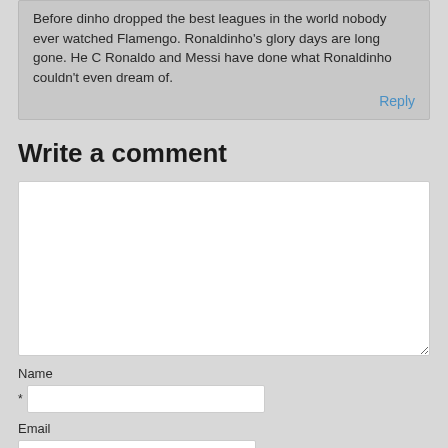Before dinho dropped the best leagues in the world nobody ever watched Flamengo. Ronaldinho's glory days are long gone. He C Ronaldo and Messi have done what Ronaldinho couldn't even dream of.
Reply
Write a comment
[Figure (screenshot): Large white textarea input field for writing a comment]
Name
[Figure (screenshot): Name text input field with asterisk required marker]
Email
[Figure (screenshot): Email text input field]